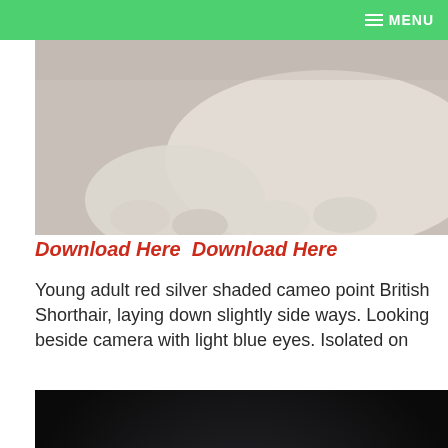MENU
[Figure (photo): White British Shorthair cat paws and body, lying down on white surface, cropped/partial view]
Download Here  Download Here
Young adult red silver shaded cameo point British Shorthair, laying down slightly side ways. Looking beside camera with light blue eyes. Isolated on
[Figure (photo): White British Shorthair cat with dark eyes, pink nose, sitting upright against a dark/black background, looking at camera]